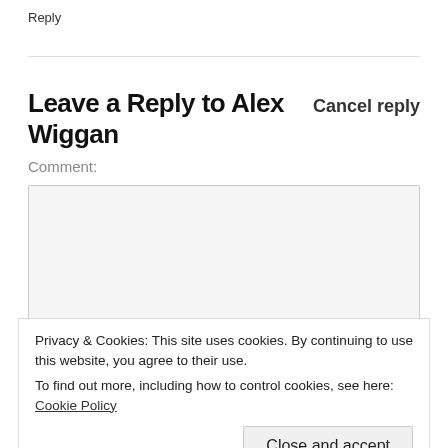Reply
Leave a Reply to Alex Wiggan  Cancel reply
Comment:
Privacy & Cookies: This site uses cookies. By continuing to use this website, you agree to their use.
To find out more, including how to control cookies, see here: Cookie Policy
Close and accept
Basic HTML is allowed. Your email address will not be